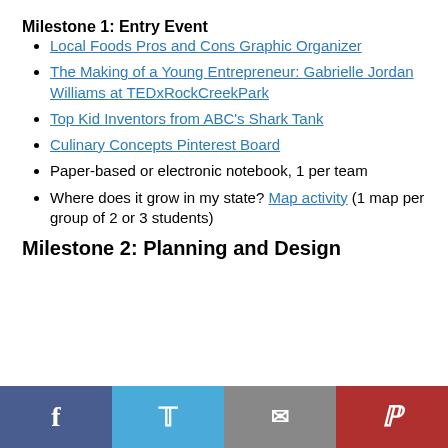Milestone 1: Entry Event
Local Foods Pros and Cons Graphic Organizer
The Making of a Young Entrepreneur: Gabrielle Jordan Williams at TEDxRockCreekPark
Top Kid Inventors from ABC's Shark Tank
Culinary Concepts Pinterest Board
Paper-based or electronic notebook, 1 per team
Where does it grow in my state? Map activity (1 map per group of 2 or 3 students)
Milestone 2: Planning and Design
Facebook | Twitter | Email | Pinterest